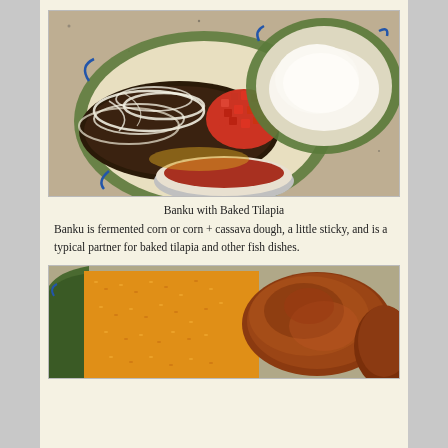[Figure (photo): Overhead view of a plate with baked tilapia fish topped with sliced onions and diced tomato salsa, alongside a bowl of white banku dough on a decorative plate, with a bowl of red sauce at the bottom, on a granite countertop.]
Banku with Baked Tilapia
Banku is fermented corn or corn + cassava dough, a little sticky, and is a typical partner for baked tilapia and other fish dishes.
[Figure (photo): Close-up of a plate with orange/yellow jollof rice and a piece of browned/fried meat or chicken on a decorative green plate.]